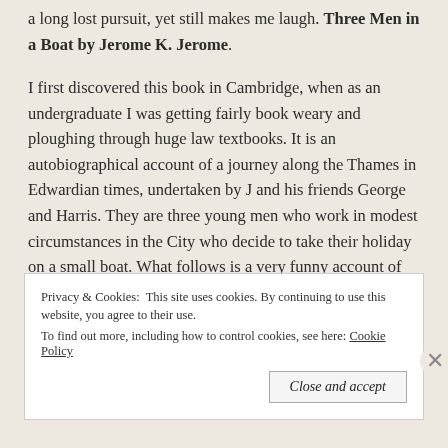a long lost pursuit, yet still makes me laugh. Three Men in a Boat by Jerome K. Jerome.
I first discovered this book in Cambridge, when as an undergraduate I was getting fairly book weary and ploughing through huge law textbooks. It is an autobiographical account of a journey along the Thames in Edwardian times, undertaken by J and his friends George and Harris. They are three young men who work in modest circumstances in the City who decide to take their holiday on a small boat. What follows is a very funny account of their preparations, their journeys and diversions. They have disagreements over cooking, eating and just how
Privacy & Cookies: This site uses cookies. By continuing to use this website, you agree to their use.
To find out more, including how to control cookies, see here: Cookie Policy
Close and accept